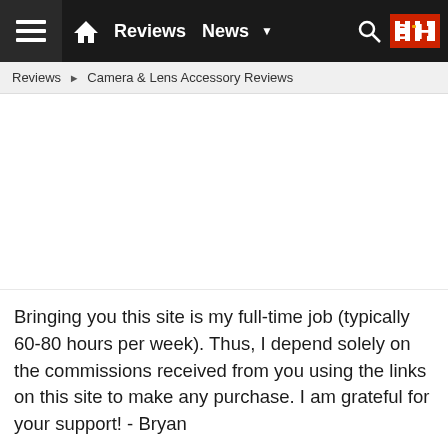Reviews  News  B•H
Reviews ▶ Camera & Lens Accessory Reviews
[Figure (other): Advertisement placeholder area (blank white space)]
Bringing you this site is my full-time job (typically 60-80 hours per week). Thus, I depend solely on the commissions received from you using the links on this site to make any purchase. I am grateful for your support! - Bryan